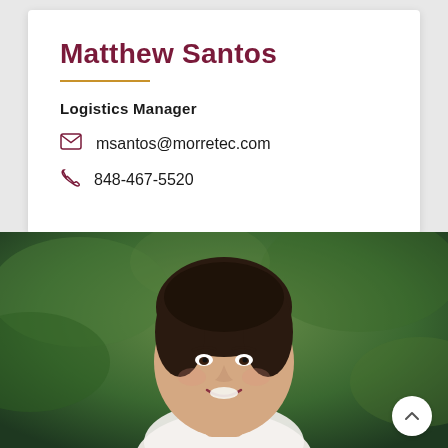Matthew Santos
Logistics Manager
msantos@morretec.com
848-467-5520
[Figure (photo): Portrait photo of a smiling woman with dark hair pulled back, wearing a white top, photographed outdoors with green foliage background. A white circular scroll-up button is visible in the bottom-right corner.]